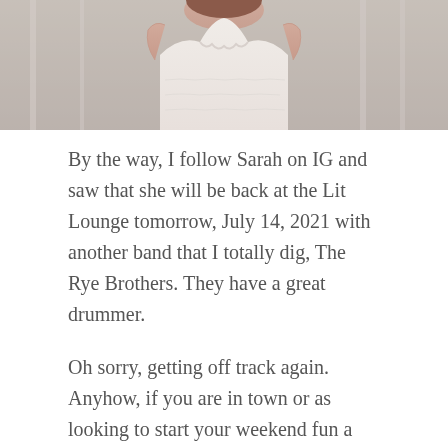[Figure (photo): Partial photo of a woman in a white lace dress, cropped to show the upper torso and dress neckline area, with a blurred outdoor background.]
By the way, I follow Sarah on IG and saw that she will be back at the Lit Lounge tomorrow, July 14, 2021 with another band that I totally dig, The Rye Brothers. They have a great drummer.
Oh sorry, getting off track again. Anyhow, if you are in town or as looking to start your weekend fun a day early, then do stop in Fantasy Springs for Country Night! I am going to try again. Fingers and toes crossed that the weather is below 100 around 7 PM so that if it is in the Rock Yard, it will not be uncomfortable.
To you dear reader, where ever you are thank you for